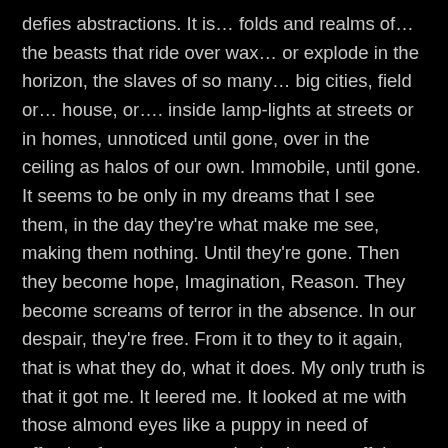defies abstractions. It is… folds and realms of… the beasts that ride over wax… or explode in the horizon, the slaves of so many… big cities, field or… house, or…. inside lamp-lights at streets or in homes, unnoticed until gone, over in the ceiling as halos of our own. Immobile, until gone. It seems to be only in my dreams that I see them, in the day they're what make me see, making them nothing. Until they're gone. Then they become hope, Imagination, Reason. They become screams of terror in the absence. In our despair, they're free. From it to they to it again, that is what they do, what it does. My only truth is that it got me. It leered me. It looked at me with those almond eyes like a puppy in need of affection from an owner who had gone puff, just like that. And returned with an even bigger puff in a bigger out of nowhere. And, just like that, It crept over my bottom, never to take those hypnotic bulbs out of my sight. Whispering, as if out of terms with the yearning – the longing for the abuse that had became tender in previous times. It ghosted its…